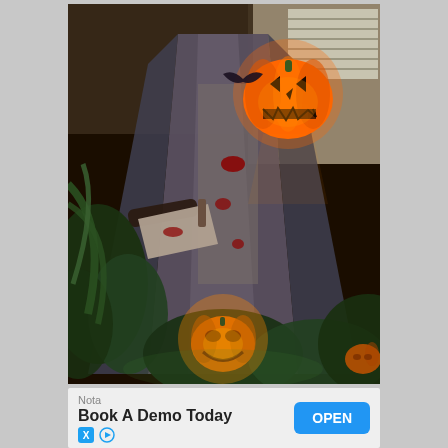[Figure (photo): Halloween outdoor decoration at night. A tall figure wearing a dark hooded cloak and holding a cleaver/butcher knife with red blood marks, topped with a carved glowing jack-o'-lantern pumpkin for a head. The scene is in front of a house with bushes and plants around. Another illuminated carved pumpkin is visible on the ground below among the greenery.]
Nota
Book A Demo Today
OPEN